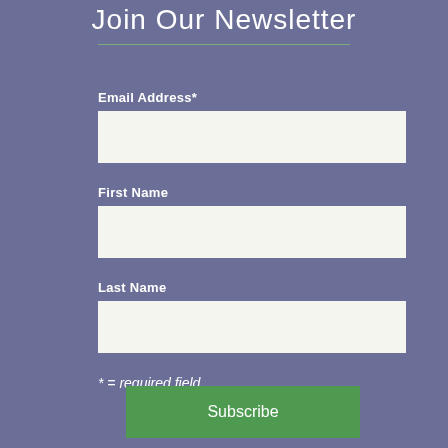Join Our Newsletter
Email Address*
First Name
Last Name
* = required field
Subscribe